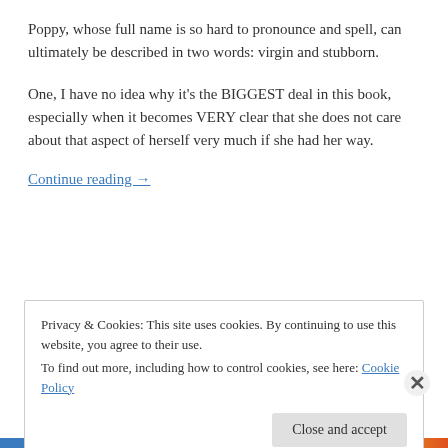Poppy, whose full name is so hard to pronounce and spell, can ultimately be described in two words: virgin and stubborn.
One, I have no idea why it's the BIGGEST deal in this book, especially when it becomes VERY clear that she does not care about that aspect of herself very much if she had her way.
Continue reading →
Privacy & Cookies: This site uses cookies. By continuing to use this website, you agree to their use.
To find out more, including how to control cookies, see here: Cookie Policy